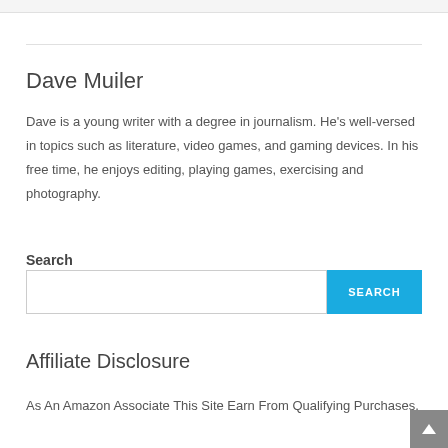Dave Muiler
Dave is a young writer with a degree in journalism. He's well-versed in topics such as literature, video games, and gaming devices. In his free time, he enjoys editing, playing games, exercising and photography.
Search
Affiliate Disclosure
As An Amazon Associate This Site Earn From Qualifying Purchases.